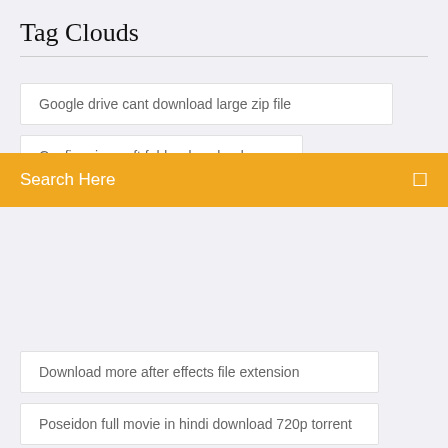Tag Clouds
Google drive cant download large zip file
Config minecraft folder download
Search Here
Download more after effects file extension
Poseidon full movie in hindi download 720p torrent
Fallout 4 mods download for xbox 1
Chowdhury and hossain english grammar book pdf download